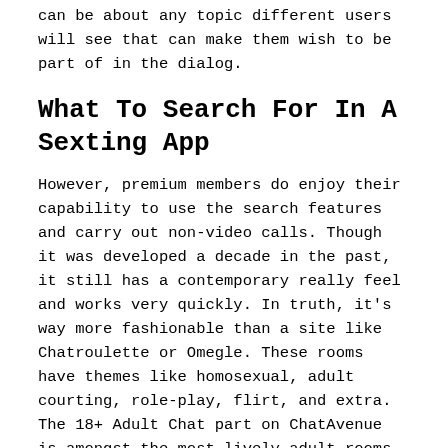can be about any topic different users will see that can make them wish to be part of in the dialog.
What To Search For In A Sexting App
However, premium members do enjoy their capability to use the search features and carry out non-video calls. Though it was developed a decade in the past, it still has a contemporary really feel and works very quickly. In truth, it's way more fashionable than a site like Chatroulette or Omegle. These rooms have themes like homosexual, adult courting, role-play, flirt, and extra. The 18+ Adult Chat part on ChatAvenue is amongst the most lively adult rooms on the location.
Adult Pal Finder
Just go beneath the menu, in case you need to create your very